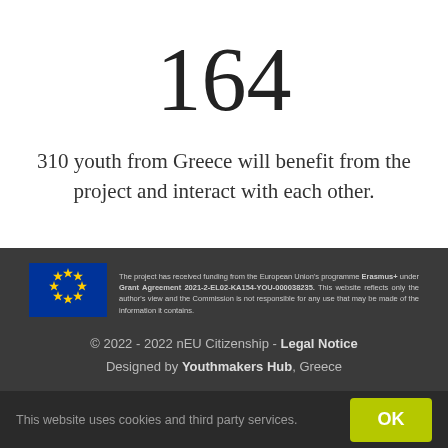164
310 youth from Greece will benefit from the project and interact with each other.
[Figure (logo): European Union flag — blue rectangle with a circle of gold stars]
The project has received funding from the European Union's programme Erasmus+ under Grant Agreement 2021-2-EL02-KA154-YOU-000038235. This website reflects only the author's view and the Commission is not responsible for any use that may be made of the information it contains.
© 2022 - 2022 nEU Citizenship - Legal Notice
Designed by Youthmakers Hub, Greece
This website uses cookies and third party services.